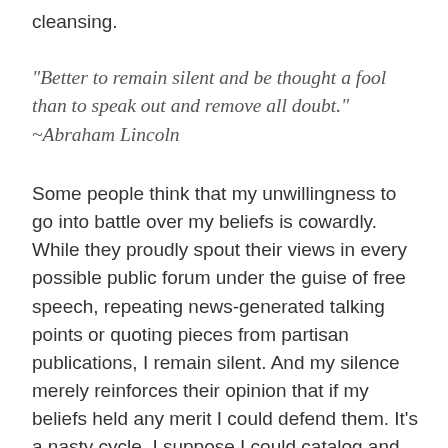cleansing.
“Better to remain silent and be thought a fool than to speak out and remove all doubt.” ~Abraham Lincoln
Some people think that my unwillingness to go into battle over my beliefs is cowardly. While they proudly spout their views in every possible public forum under the guise of free speech, repeating news-generated talking points or quoting pieces from partisan publications, I remain silent. And my silence merely reinforces their opinion that if my beliefs held any merit I could defend them. It’s a nasty cycle. I suppose I could catalog and save statistical evidence to offer while disputing my